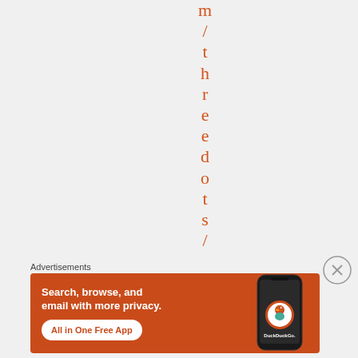m/thedots/
Advertisements
[Figure (illustration): DuckDuckGo advertisement banner with orange background showing text 'Search, browse, and email with more privacy. All in One Free App' with a phone image and DuckDuckGo logo]